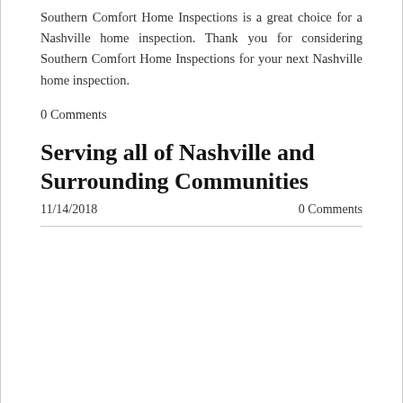Southern Comfort Home Inspections is a great choice for a Nashville home inspection. Thank you for considering Southern Comfort Home Inspections for your next Nashville home inspection.
0 Comments
Serving all of Nashville and Surrounding Communities
11/14/2018    0 Comments